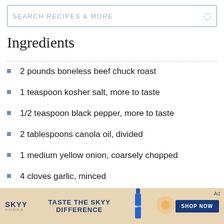SEARCH RECIPES & MORE
Ingredients
2 pounds boneless beef chuck roast
1 teaspoon kosher salt, more to taste
1/2 teaspoon black pepper, more to taste
2 tablespoons canola oil, divided
1 medium yellow onion, coarsely chopped
4 cloves garlic, minced
1 tablespoon tomato paste
[Figure (photo): SKYY Vodka advertisement banner: 'TASTE THE SKYY DIFFERENCE' with bottle image and SHOP NOW button]